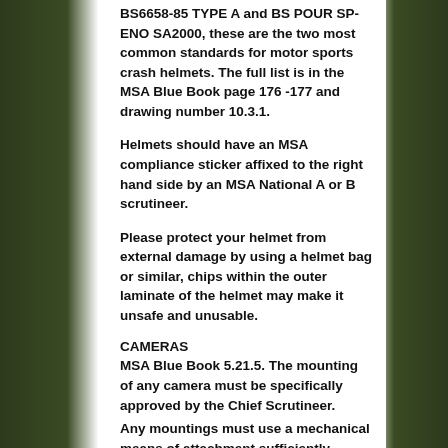BS6658-85 TYPE A and BS POUR SP-ENO SA2000, these are the two most common standards for motor sports crash helmets. The full list is in the MSA Blue Book page 176 -177 and drawing number 10.3.1.
Helmets should have an MSA compliance sticker affixed to the right hand side by an MSA National A or B scrutineer.
Please protect your helmet from external damage by using a helmet bag or similar, chips within the outer laminate of the helmet may make it unsafe and unusable.
CAMERAS
MSA Blue Book 5.21.5. The mounting of any camera must be specifically approved by the Chief Scrutineer.
Any mountings must use a mechanical means of attachment sufficiently robust to withstand